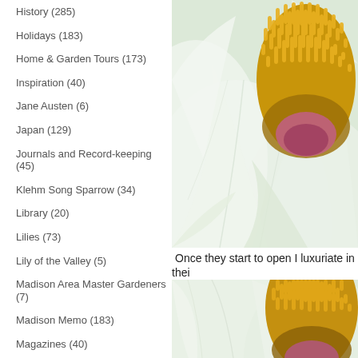History (285)
Holidays (183)
Home & Garden Tours (173)
Inspiration (40)
Jane Austen (6)
Japan (129)
Journals and Record-keeping (45)
Klehm Song Sparrow (34)
Library (20)
Lilies (73)
Lily of the Valley (5)
Madison Area Master Gardeners (7)
Madison Memo (183)
Magazines (40)
Moss (43)
Music (16)
My Garden Odyssey (80)
Olbrich Botanical Gardens (133)
[Figure (photo): Close-up macro photograph of a white peony flower with yellow stamens at center]
Once they start to open I luxuriate in thei
[Figure (photo): Second close-up macro photograph of a white peony flower with yellow stamens, partial view]